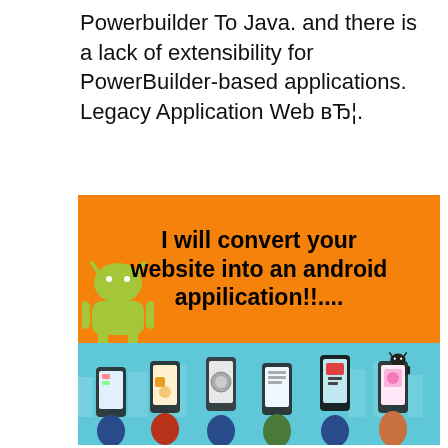Powerbuilder To Java. and there is a lack of extensibility for PowerBuilder-based applications. Legacy Application Web вЂ¦.
[Figure (illustration): Advertisement image with orange background at top reading 'I will convert your website into an android appilication!!....' with Android mascot logo on the left, and a teal/cyan lower section showing multiple hands holding smartphones with various app screens displayed, plus a small Android logo icon in the teal section.]